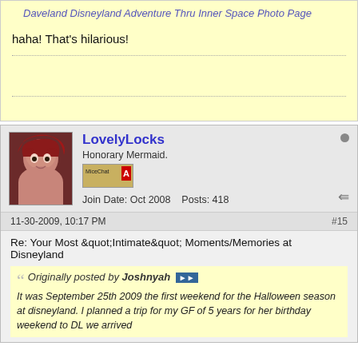Daveland Disneyland Adventure Thru Inner Space Photo Page
haha! That's hilarious!
LovelyLocks
Honorary Mermaid.
Join Date: Oct 2008   Posts: 418
11-30-2009, 10:17 PM
#15
Re: Your Most &quot;Intimate&quot; Moments/Memories at Disneyland
Originally posted by Joshnyah
It was September 25th 2009 the first weekend for the Halloween season at disneyland. I planned a trip for my GF of 5 years for her birthday weekend to DL we arrived